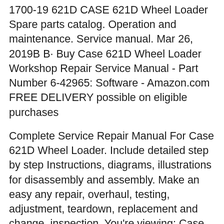1700-19 621D CASE 621D Wheel Loader Spare parts catalog. Operation and maintenance. Service manual. Mar 26, 2019B B· Buy Case 621D Wheel Loader Workshop Repair Service Manual - Part Number 6-42965: Software - Amazon.com FREE DELIVERY possible on eligible purchases
Complete Service Repair Manual For Case 621D Wheel Loader. Include detailed step by step Instructions, diagrams, illustrations for disassembly and assembly. Make an easy any repair, overhaul, testing, adjustment, teardown, replacement and change, inspection. You're viewing: Case 621D Repair Manual [Wheel Loader] $ 24.95.